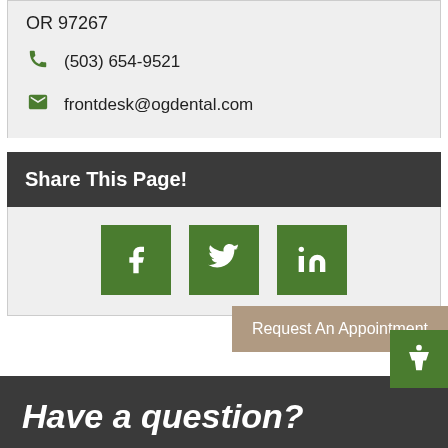OR 97267
(503) 654-9521
frontdesk@ogdental.com
Share This Page!
[Figure (other): Social media share buttons: Facebook, Twitter, LinkedIn]
Request An Appointment
Have a question?